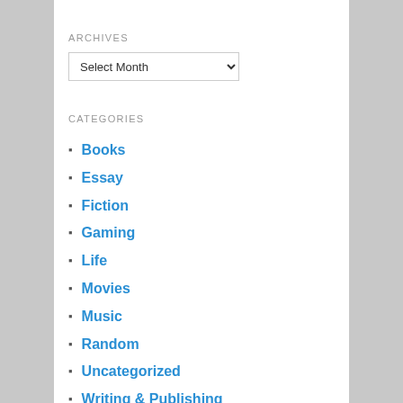ARCHIVES
Select Month (dropdown)
CATEGORIES
Books
Essay
Fiction
Gaming
Life
Movies
Music
Random
Uncategorized
Writing & Publishing
META
Log in
Entries feed
Comments feed
WordPress.org